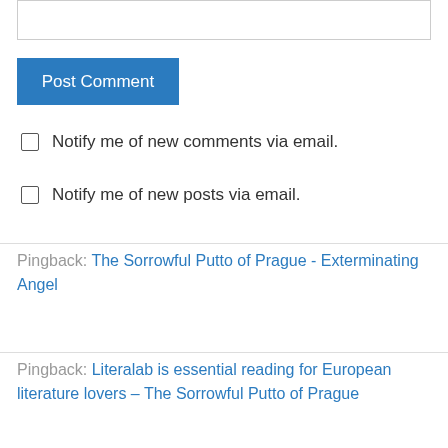Post Comment
Notify me of new comments via email.
Notify me of new posts via email.
Pingback: The Sorrowful Putto of Prague - Exterminating Angel
Pingback: Literalab is essential reading for European literature lovers – The Sorrowful Putto of Prague